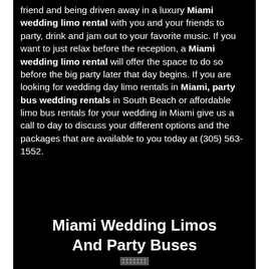friend and being driven away in a luxury Miami wedding limo rental with you and your friends to party, drink and jam out to your favorite music. If you want to just relax before the reception, a Miami wedding limo rental will offer the space to do so before the big party later that day begins. If you are looking for wedding day limo rentals in Miami, party bus wedding rentals in South Beach or affordable limo bus rentals for your wedding in Miami give us a call to day to discuss your different options and the packages that are available to you today at (305) 563-1552.
Miami Wedding Limos And Party Buses